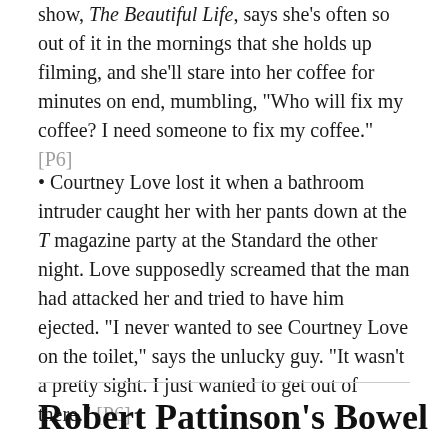show, The Beautiful Life, says she's often so out of it in the mornings that she holds up filming, and she'll stare into her coffee for minutes on end, mumbling, "Who will fix my coffee? I need someone to fix my coffee." [P6]
• Courtney Love lost it when a bathroom intruder caught her with her pants down at the T magazine party at the Standard the other night. Love supposedly screamed that the man had attacked her and tried to have him ejected. "I never wanted to see Courtney Love on the toilet," says the unlucky guy. "It wasn't a pretty sight. I just wanted to get out of there." [P6]
Robert Pattinson's Bowel